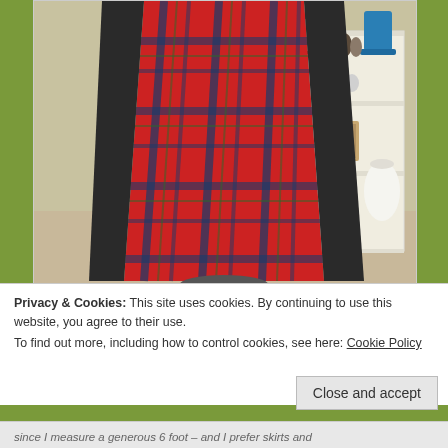[Figure (photo): A red tartan/plaid dress displayed on a dressmaker's mannequin stand in a room. Behind it is a white bookshelf with books, small figurines, framed photos, and decorative items. A blue metal pitcher is on top of the shelf.]
Privacy & Cookies: This site uses cookies. By continuing to use this website, you agree to their use.
To find out more, including how to control cookies, see here: Cookie Policy
Close and accept
since I measure a generous 6 foot – and I prefer skirts and